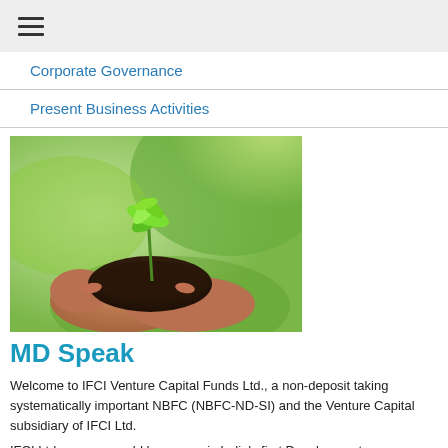≡
Corporate Governance
Present Business Activities
[Figure (photo): Hands holding a small plant sapling with soil, set against a green bokeh background]
MD Speak
Welcome to IFCI Venture Capital Funds Ltd., a non-deposit taking systematically important NBFC (NBFC-ND-SI) and the Venture Capital subsidiary of IFCI Ltd.
IFCI Ltd., as you would be aware, is India's first Development